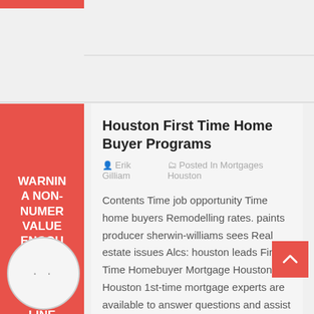WARNING A NON-NUMERIC VALUE ENCOUNTERED IN /HOME/... INCLUDE ON LINE 161 OCT 19
Houston First Time Home Buyer Programs
Erik Gilliam   Posted In Mortgages Houston
Contents Time job opportunity Time home buyers Remodelling rates. paints producer sherwin-williams sees Real estate issues Alcs: houston leads First Time Homebuyer Mortgage Houston – Houston 1st-time mortgage experts are available to answer questions and assist you step-by-step through the mortgage process. Use the contact form to the right or call ( 704-5432 or (281) [...]